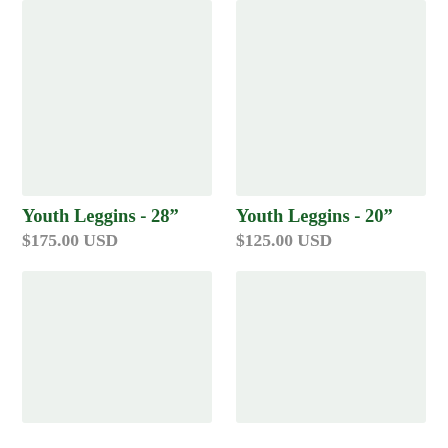[Figure (photo): Product image placeholder for Youth Leggins - 28", light green/gray background]
Youth Leggins - 28"
$175.00 USD
[Figure (photo): Product image placeholder for Youth Leggins - 20", light green/gray background]
Youth Leggins - 20"
$125.00 USD
[Figure (photo): Product image placeholder, bottom left, light green/gray background]
[Figure (photo): Product image placeholder, bottom right, light green/gray background]